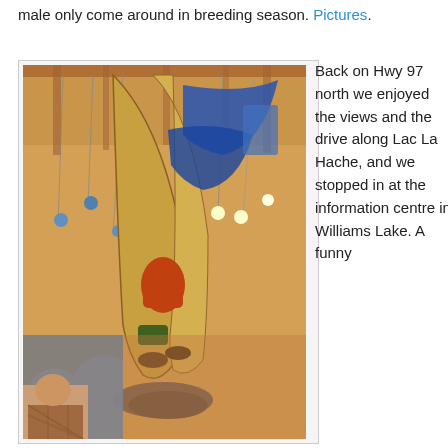male only come around in breeding season. Pictures.
[Figure (photo): Indoor photo of a large sculptural display or hanging artwork in what appears to be an information centre or visitor centre. The sculpture features canoes, paddles, and various gear hanging from a wooden beam ceiling with spotlights. A person in a plaid shirt is visible at the bottom left.]
Back on Hwy 97 north we enjoyed the views and the drive along Lac La Hache, and we stopped in at the information centre in Williams Lake. A funny